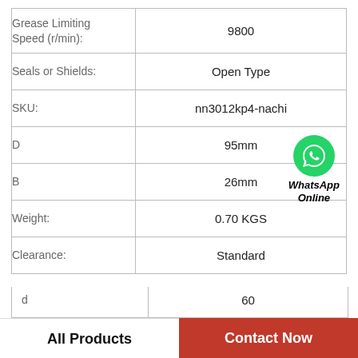| Property | Value |
| --- | --- |
| Grease Limiting Speed (r/min): | 9800 |
| Seals or Shields: | Open Type |
| SKU: | nn3012kp4-nachi |
| D | 95mm |
| B | 26mm |
| Weight: | 0.70 KGS |
| Clearance: | Standard |
| d | 60 |
All Products   Contact Now